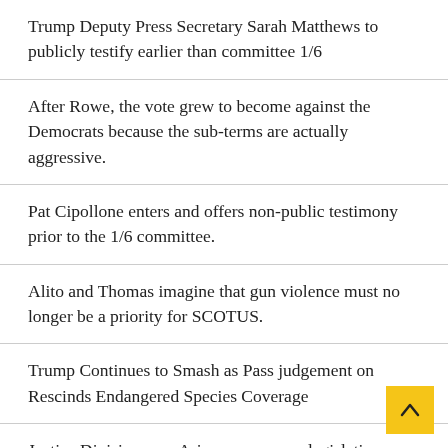Trump Deputy Press Secretary Sarah Matthews to publicly testify earlier than committee 1/6
After Rowe, the vote grew to become against the Democrats because the sub-terms are actually aggressive.
Pat Cipollone enters and offers non-public testimony prior to the 1/6 committee.
Alito and Thomas imagine that gun violence must no longer be a priority for SCOTUS.
Trump Continues to Smash as Pass judgement on Rescinds Endangered Species Coverage
Justice Division sues Arizona over new legislation making it tougher to sign in to vote